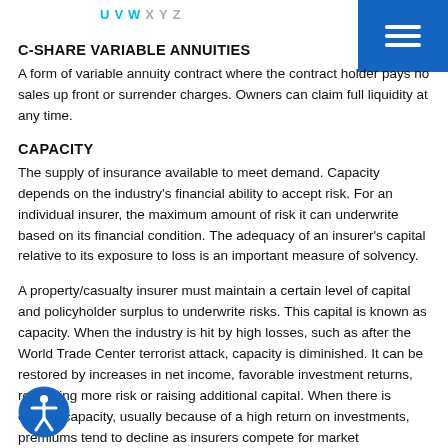U V W X Y Z
C-SHARE VARIABLE ANNUITIES
A form of variable annuity contract where the contract holder pays no sales up front or surrender charges. Owners can claim full liquidity at any time.
CAPACITY
The supply of insurance available to meet demand. Capacity depends on the industry's financial ability to accept risk. For an individual insurer, the maximum amount of risk it can underwrite based on its financial condition. The adequacy of an insurer's capital relative to its exposure to loss is an important measure of solvency.
A property/casualty insurer must maintain a certain level of capital and policyholder surplus to underwrite risks. This capital is known as capacity. When the industry is hit by high losses, such as after the World Trade Center terrorist attack, capacity is diminished. It can be restored by increases in net income, favorable investment returns, reinsuring more risk or raising additional capital. When there is excess capacity, usually because of a high return on investments, premiums tend to decline as insurers compete for market